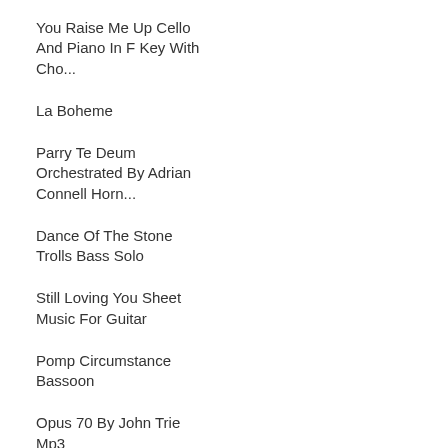You Raise Me Up Cello And Piano In F Key With Cho...
La Boheme
Parry Te Deum Orchestrated By Adrian Connell Horn...
Dance Of The Stone Trolls Bass Solo
Still Loving You Sheet Music For Guitar
Pomp Circumstance Bassoon
Opus 70 By John Trie Mp3